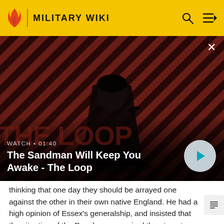MILITARY WIKI
[Figure (screenshot): Video thumbnail showing a dark-haired man in black clothing with a raven on his shoulder, against a red and dark diagonal striped background. Text overlay: WATCH • 01:40, The Sandman Will Keep You Awake - The Loop. A play button circle on the right, and an X close button top right.]
thinking that one day they should be arrayed one against the other in their own native England. He had a high opinion of Essex's generalship, and insisted that the situation of the Royal army required the utmost caution. Rupert, on the other hand, had seen the swift fiery charges of the fierce troopers of the Thirty Years' war.